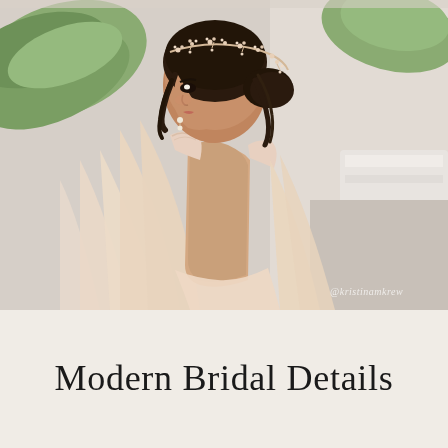[Figure (photo): A bride photographed from behind, showing her open-back wedding dress with lace details and flowing cape/veil sleeves. She has dark hair styled in an updo with a delicate floral hair vine/crown accessory. She wears drop earrings and looks over her shoulder. A large green leaf plant is visible in the background. The setting appears bright and airy. A watermark reading '@kristinamkrew' or similar is in the lower right corner.]
Modern Bridal Details